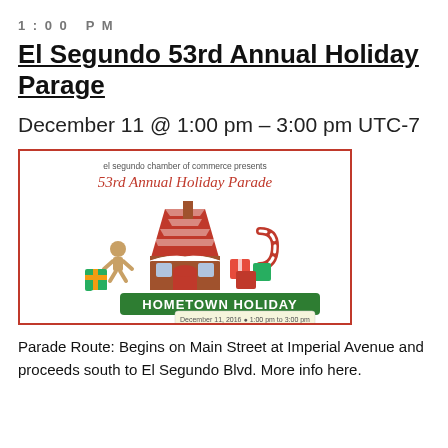1:00 PM
El Segundo 53rd Annual Holiday Parage
December 11 @ 1:00 pm – 3:00 pm UTC-7
[Figure (illustration): El Segundo Chamber of Commerce 53rd Annual Holiday Parade promotional poster with gingerbread house, holiday decorations, candy canes, gifts, and banner reading HOMETOWN HOLIDAY. Date: December 11, 2016, 1:00 pm to 3:00 pm.]
Parade Route: Begins on Main Street at Imperial Avenue and proceeds south to El Segundo Blvd. More info here.